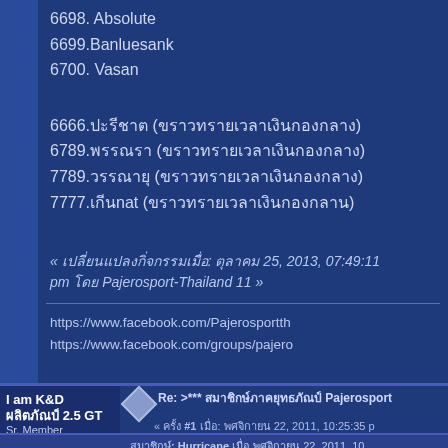6698. Absolute
6699.Banluesank
6700. Vasan
6666.xxxxxxx  (xxxxxxxxxxxxxxxxxxxxxxxxx)
6789.xxxxxx (xxxxxxxxxxxxxxxxxxxxxxxxx)
7789.xxxxxxxx (xxxxxxxxxxxxxxxxxxxxxxxxx)
7777.xxxnat (xxxxxxxxxxxxxxxxxxxxxxxxx)
« xxxxxxxxxxxxxxxxxxxxxxxxx: xxxxxxx 25, 2013, 07:49:11 pm xxx Pajerosport-Thailand 11 »
https://www.facebook.com/Pajerosportth
https://www.facebook.com/groups/pajero
I am K&D xxxxxxxxxx 2.5 GT Sr. Member
Re: >*** xxxxxxxxxxxxxxxxxxxxxxxxx Pajerosport « xxx #1 xxxxxxx: xxxxxxxxxx 22, 2011, 10:25:35 p
xxxxxxxxx: Hurricane xxx xxxxxxxxxx 22, 2011, 10